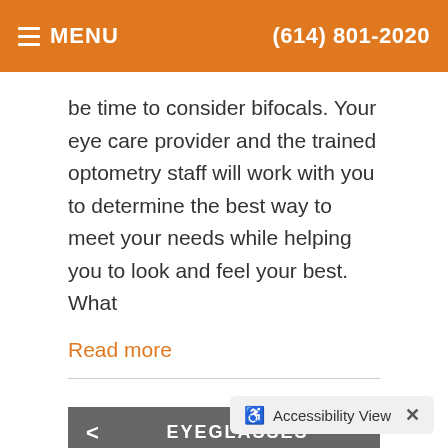MENU  (614) 801-2020
be time to consider bifocals. Your eye care provider and the trained optometry staff will work with you to determine the best way to meet your needs while helping you to look and feel your best. What
Read more
EYEGLASSES
EYEGLASS LENSES
Accessibility View